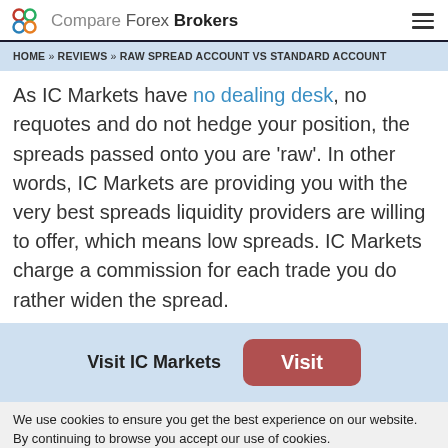Compare Forex Brokers
HOME » REVIEWS » RAW SPREAD ACCOUNT VS STANDARD ACCOUNT
As IC Markets have no dealing desk, no requotes and do not hedge your position, the spreads passed onto you are 'raw'. In other words, IC Markets are providing you with the very best spreads liquidity providers are willing to offer, which means low spreads. IC Markets charge a commission for each trade you do rather widen the spread.
Visit IC Markets
We use cookies to ensure you get the best experience on our website. By continuing to browse you accept our use of cookies.
Accept  More information